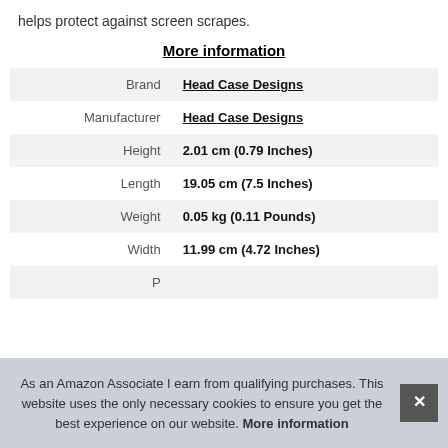helps protect against screen scrapes.
More information
|  |  |
| --- | --- |
| Brand | Head Case Designs |
| Manufacturer | Head Case Designs |
| Height | 2.01 cm (0.79 Inches) |
| Length | 19.05 cm (7.5 Inches) |
| Weight | 0.05 kg (0.11 Pounds) |
| Width | 11.99 cm (4.72 Inches) |
| P |  |
As an Amazon Associate I earn from qualifying purchases. This website uses the only necessary cookies to ensure you get the best experience on our website. More information